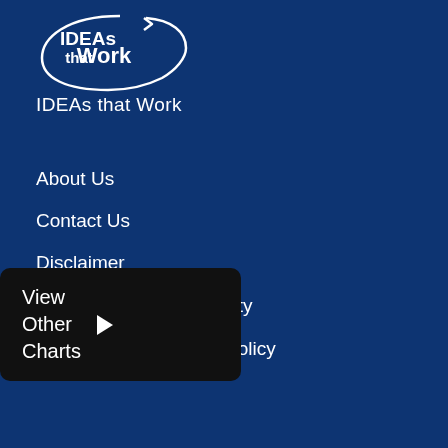[Figure (logo): IDEAs that Work logo — white oval outline with arrow, bold white text 'IDEAs that Work' inside on dark blue background]
IDEAs that Work
About Us
Contact Us
Disclaimer
[Figure (screenshot): Black tooltip/popup box showing 'View Other Charts' with a right-pointing arrow, overlaid on navigation items 'ility' (Accessibility) and 'Policy']